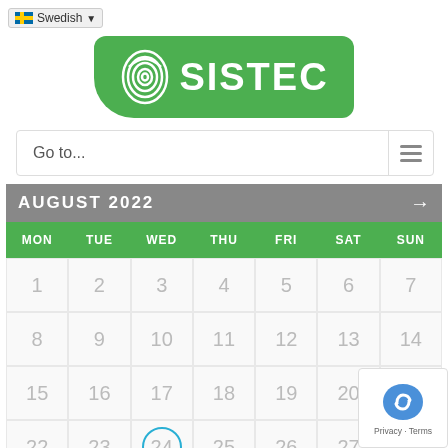[Figure (screenshot): Language selector showing Swedish flag and dropdown arrow]
[Figure (logo): SISTEC logo - green rounded rectangle with fingerprint icon and white text SISTEC]
Go to...
[Figure (screenshot): August 2022 calendar showing dates 1-28, with date 24 circled in blue. Days header: MON TUE WED THU FRI SAT SUN]
[Figure (screenshot): Google reCAPTCHA badge with Privacy and Terms links]